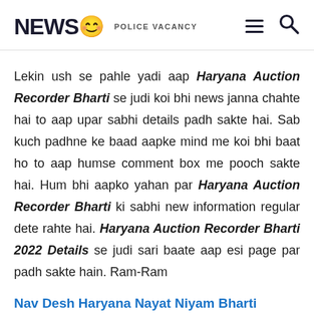NEWS 😊 POLICE VACANCY
Lekin ush se pahle yadi aap Haryana Auction Recorder Bharti se judi koi bhi news janna chahte hai to aap upar sabhi details padh sakte hai. Sab kuch padhne ke baad aapke mind me koi bhi baat ho to aap humse comment box me pooch sakte hai. Hum bhi aapko yahan par Haryana Auction Recorder Bharti ki sabhi new information regular dete rahte hai. Haryana Auction Recorder Bharti 2022 Details se judi sari baate aap esi page par padh sakte hain. Ram-Ram
Nav Desh Haryana Nayat Niyam Bharti